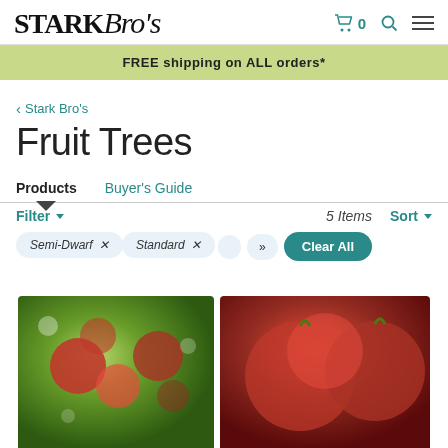Stark Bro's — FREE shipping on ALL orders*
‹ Stark Bro's
Fruit Trees
Products   Buyer's Guide
Filter ▾    5 Items    Sort ▾
Semi-Dwarf ×
Standard ×
» Clear All
[Figure (photo): Two product photos: left shows green apple tree with apples; right shows close-up of dark red apples.]